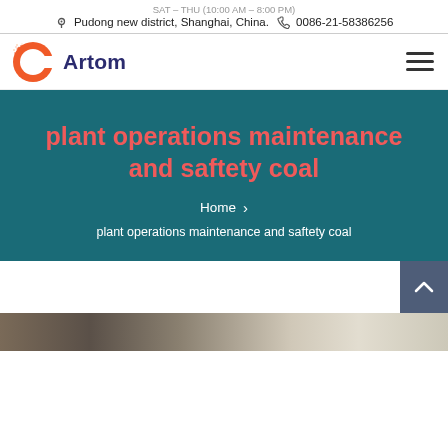Pudong new district, Shanghai, China.  0086-21-58386256
[Figure (logo): Artom company logo with stylized red C icon and dark blue 'Artom' text]
plant operations maintenance and saftety coal
Home > plant operations maintenance and saftety coal
[Figure (photo): Partial photo strip at bottom of page showing industrial/plant equipment]